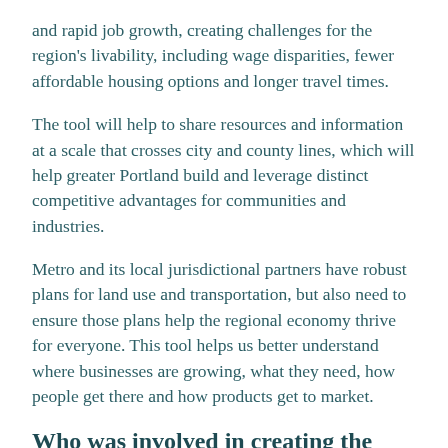and rapid job growth, creating challenges for the region's livability, including wage disparities, fewer affordable housing options and longer travel times.
The tool will help to share resources and information at a scale that crosses city and county lines, which will help greater Portland build and leverage distinct competitive advantages for communities and industries.
Metro and its local jurisdictional partners have robust plans for land use and transportation, but also need to ensure those plans help the regional economy thrive for everyone. This tool helps us better understand where businesses are growing, what they need, how people get there and how products get to market.
Who was involved in creating the tool?
Many partners had a hand in creating the Economic